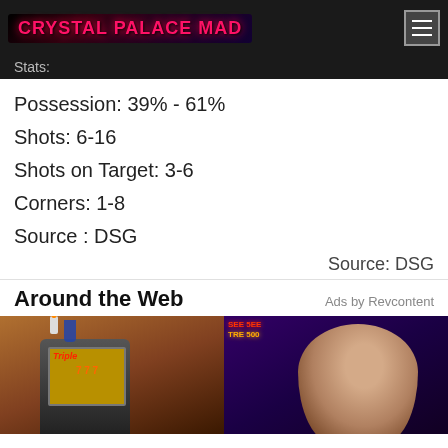CRYSTAL PALACE MAD
Stats:
Possession: 39% - 61%
Shots: 6-16
Shots on Target: 3-6
Corners: 1-8
Source : DSG
Source: DSG
Around the Web
Ads by Revcontent
[Figure (photo): Promotional image showing slot machines on the left and a man on the right with casino-style background lighting]